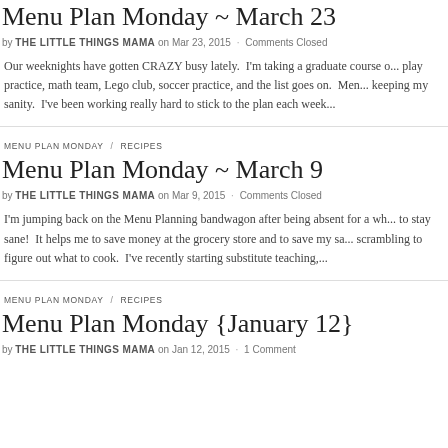Menu Plan Monday ~ March 23
by THE LITTLE THINGS MAMA on Mar 23, 2015 · Comments Closed
Our weeknights have gotten CRAZY busy lately.  I'm taking a graduate course o... play practice, math team, Lego club, soccer practice, and the list goes on.  Men... keeping my sanity.  I've been working really hard to stick to the plan each week...
MENU PLAN MONDAY   RECIPES
Menu Plan Monday ~ March 9
by THE LITTLE THINGS MAMA on Mar 9, 2015 · Comments Closed
I'm jumping back on the Menu Planning bandwagon after being absent for a wh... to stay sane!  It helps me to save money at the grocery store and to save my sa... scrambling to figure out what to cook.  I've recently starting substitute teaching,...
MENU PLAN MONDAY   RECIPES
Menu Plan Monday {January 12}
by THE LITTLE THINGS MAMA on Jan 12, 2015 · 1 Comment